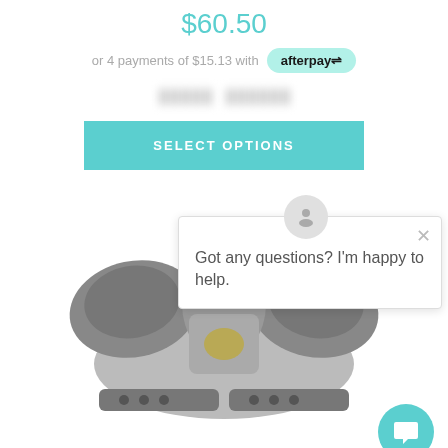$60.50
or 4 payments of $15.13 with afterpay
SELECT OPTIONS
[Figure (photo): Football shoulder pads product image]
Got any questions? I'm happy to help.